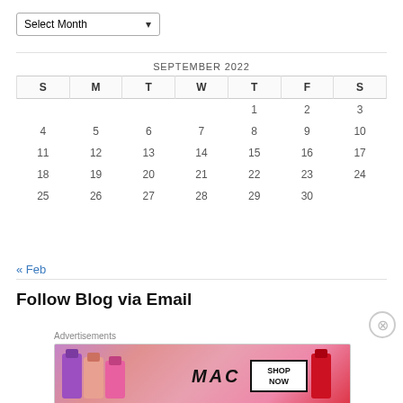Select Month
| S | M | T | W | T | F | S |
| --- | --- | --- | --- | --- | --- | --- |
|  |  |  |  | 1 | 2 | 3 |
| 4 | 5 | 6 | 7 | 8 | 9 | 10 |
| 11 | 12 | 13 | 14 | 15 | 16 | 17 |
| 18 | 19 | 20 | 21 | 22 | 23 | 24 |
| 25 | 26 | 27 | 28 | 29 | 30 |  |
« Feb
Follow Blog via Email
Advertisements
[Figure (other): MAC Cosmetics advertisement showing lipsticks with SHOP NOW button]